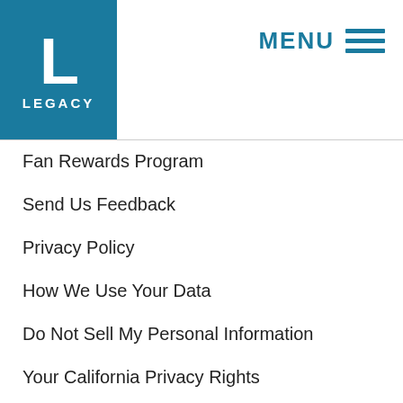[Figure (logo): Legacy Records logo: teal square with white letter L and text LEGACY below]
MENU ☰
Fan Rewards Program
Send Us Feedback
Privacy Policy
How We Use Your Data
Do Not Sell My Personal Information
Your California Privacy Rights
Terms & Conditions
ASSOCIATED LABELS
Columbia Records
Epic Records
RCA Records
REGION